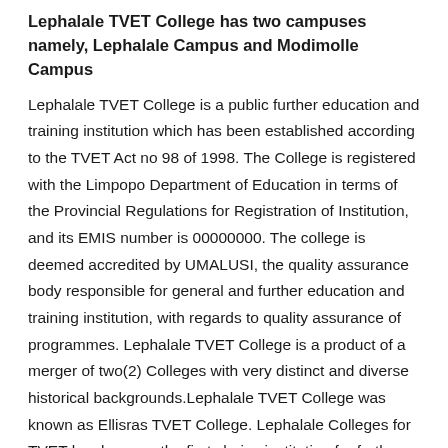Lephalale TVET College has two campuses namely, Lephalale Campus and Modimolle Campus
Lephalale TVET College is a public further education and training institution which has been established according to the TVET Act no 98 of 1998. The College is registered with the Limpopo Department of Education in terms of the Provincial Regulations for Registration of Institution, and its EMIS number is 00000000. The college is deemed accredited by UMALUSI, the quality assurance body responsible for general and further education and training institution, with regards to quality assurance of programmes. Lephalale TVET College is a product of a merger of two(2) Colleges with very distinct and diverse historical backgrounds.Lephalale TVET College was known as Ellisras TVET College. Lephalale Colleges for TVET has become the first choice institution for further education for many young people as the programmes offered directly respond to the priority skills demands of the South African economy. The College further offers theory and practical learning. There are many exit options for young